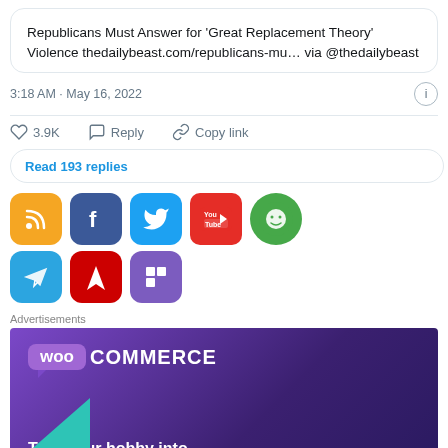Republicans Must Answer for ‘Great Replacement Theory’ Violence thedailybeast.com/republicans-mu… via @thedailybeast
3:18 AM · May 16, 2022
♥ 3.9K   Reply   Copy link
Read 193 replies
[Figure (screenshot): Social media share icons: RSS (orange), Facebook (blue), Twitter (light blue), YouTube (red), Reddit (green), Telegram (blue), Feedly (red), Flipboard (purple)]
Advertisements
[Figure (other): WooCommerce advertisement banner with purple gradient background. Shows WooCommerce logo and text 'Turn your hobby into']